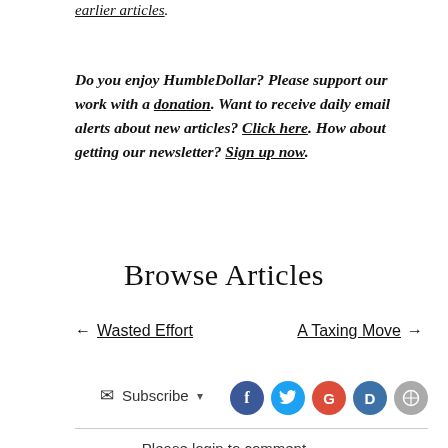earlier articles.
Do you enjoy HumbleDollar? Please support our work with a donation. Want to receive daily email alerts about new articles? Click here. How about getting our newsletter? Sign up now.
Browse Articles
← Wasted Effort
A Taxing Move →
Subscribe ▾
Please login to comment